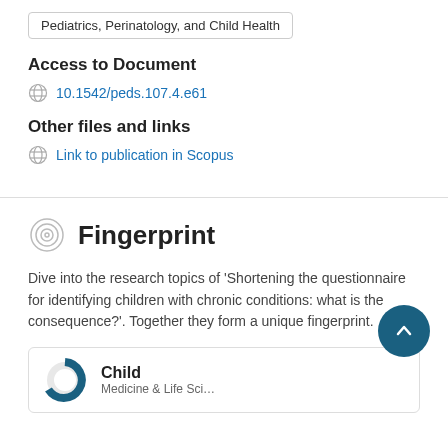Pediatrics, Perinatology, and Child Health
Access to Document
10.1542/peds.107.4.e61
Other files and links
Link to publication in Scopus
Fingerprint
Dive into the research topics of 'Shortening the questionnaire for identifying children with chronic conditions: what is the consequence?'. Together they form a unique fingerprint.
Child